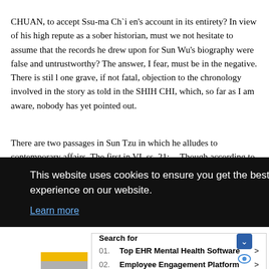CHUAN, to accept Ssu-ma Ch`i en's account in its entirety? In view of his high repute as a sober historian, must we not hesitate to assume that the records he drew upon for Sun Wu's biography were false and untrustworthy? The answer, I fear, must be in the negative. There is stil l one grave, if not fatal, objection to the chronology involved in the story as told in the SHIH CHI, which, so far as I am aware, nobody has yet pointed out.
There are two passages in Sun Tzu in which he alludes to contemporary affairs. The first in VI. ss. 21: -- Though according to my estimate the soldiers of Yueh exceed our own in number, that shall advantage them nothing in the matter of victory. I say then that victory can be achieved.
imitate d the e same s
he date ggle un. But npair the ve, the ! He is ho Lu
[Figure (screenshot): Cookie consent overlay on dark background reading 'This website uses cookies to ensure you get the best experience on our website.' with 'Learn more' link]
[Figure (screenshot): Yahoo Search sponsored ad panel with 'Search for' header, listing '01. Top EHR Mental Health Software' and '02. Employee Engagement Platform' with arrow links, yellow and gray color blocks on left, and Yahoo! Search | Sponsored footer]